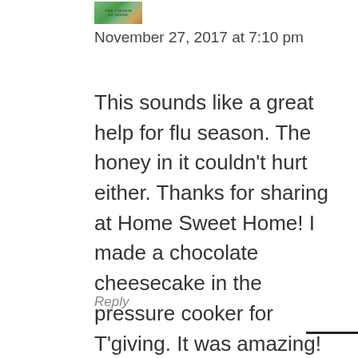[Figure (photo): Small avatar/thumbnail image with green and brown tones, possibly a book or nature cover]
November 27, 2017 at 7:10 pm
This sounds like a great help for flu season. The honey in it couldn’t hurt either. Thanks for sharing at Home Sweet Home! I made a chocolate cheesecake in the pressure cooker for T’giving. It was amazing! Thanks for sharing that cooker.
Reply
< 426 SHARES